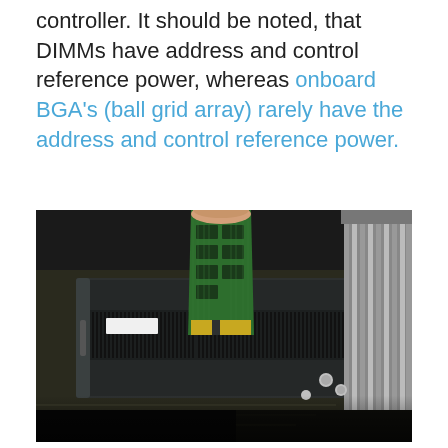controller. It should be noted, that DIMMs have address and control reference power, whereas onboard BGA's (ball grid array) rarely have the address and control reference power.
[Figure (photo): Close-up photograph of a green DDR RAM DIMM module being inserted into a motherboard DIMM slot, with a heat sink and other motherboard components visible in the background.]